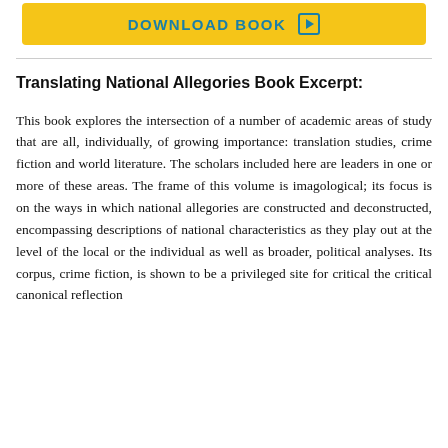[Figure (other): Yellow download book button with play icon arrow, teal text reading DOWNLOAD BOOK]
Translating National Allegories Book Excerpt:
This book explores the intersection of a number of academic areas of study that are all, individually, of growing importance: translation studies, crime fiction and world literature. The scholars included here are leaders in one or more of these areas. The frame of this volume is imagological; its focus is on the ways in which national allegories are constructed and deconstructed, encompassing descriptions of national characteristics as they play out at the level of the local or the individual as well as broader, political analyses. Its corpus, crime fiction, is shown to be a privileged site for critical the critical canonical reflection